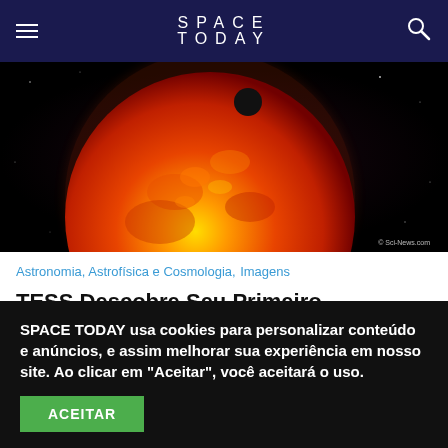SPACE TODAY
[Figure (photo): A red-orange star (exoplanet host star) with a small dark planet transiting across its surface against a black space background. Watermark: © Sci-News.com]
Astronomia, Astrofísica e Cosmologia, Imagens
TESS Descobre Seu Primeiro Exoplaneta Localizado No Disco Espesso da Via Láctea
44 visualizações  /  2 min de leitura
SPACE TODAY usa cookies para personalizar conteúdo e anúncios, e assim melhorar sua experiência em nosso site. Ao clicar em "Aceitar", você aceitará o uso.
ACEITAR